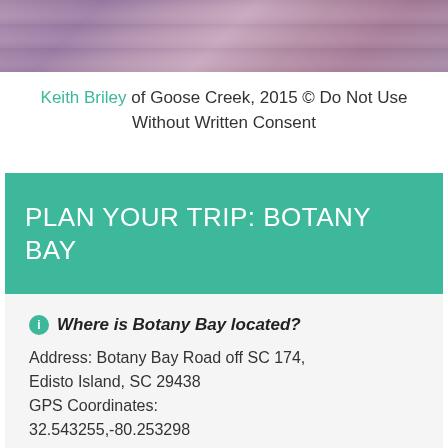[Figure (photo): Aerial or landscape photo of Botany Bay beach with pink/purple hues]
Keith Briley of Goose Creek, 2015 © Do Not Use Without Written Consent
PLAN YOUR TRIP: BOTANY BAY
Where is Botany Bay located?
Address: Botany Bay Road off SC 174, Edisto Island, SC 29438
GPS Coordinates:
32.543255,-80.253298